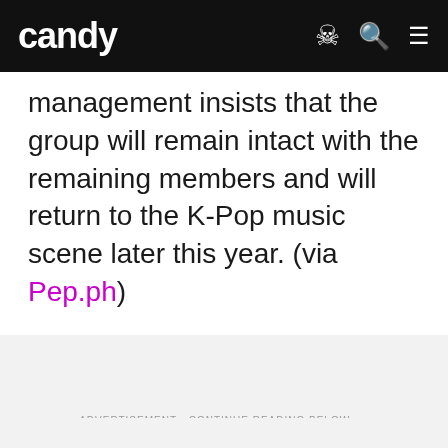candy
management insists that the group will remain intact with the remaining members and will return to the K-Pop music scene later this year. (via Pep.ph)
ADVERTISEMENT - CONTINUE READING BELOW